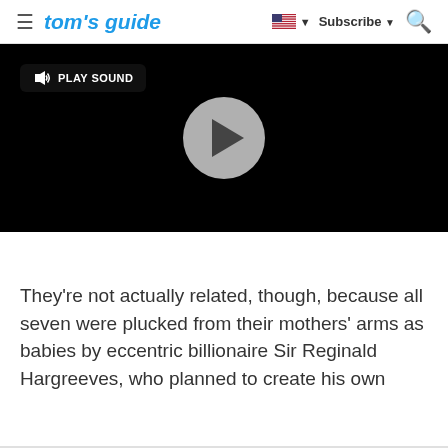tom's guide — Subscribe — Search
[Figure (screenshot): Embedded video player with black background, a circular grey play button in the center, and a 'PLAY SOUND' button with speaker icon in the top-left corner.]
They're not actually related, though, because all seven were plucked from their mothers' arms as babies by eccentric billionaire Sir Reginald Hargreeves, who planned to create his own